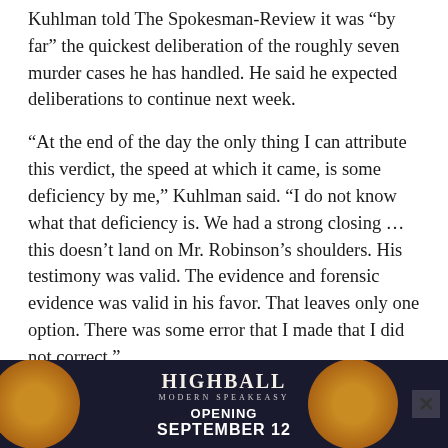Kuhlman told The Spokesman-Review it was “by far” the quickest deliberation of the roughly seven murder cases he has handled. He said he expected deliberations to continue next week.
“At the end of the day the only thing I can attribute this verdict, the speed at which it came, is some deficiency by me,” Kuhlman said. “I do not know what that deficiency is. We had a strong closing … this doesn’t land on Mr. Robinson’s shoulders. His testimony was valid. The evidence and forensic evidence was valid in his favor. That leaves only one option. There was some error that I made that I did not correct.”
Nagy declined to comment after the court proceedings.
Robinson’s
[Figure (other): Advertisement overlay for HIGHBALL Modern Speakeasy, Opening September 12, with decorative amber/orange circular bokeh elements on dark background. Close button (X) visible in top right.]